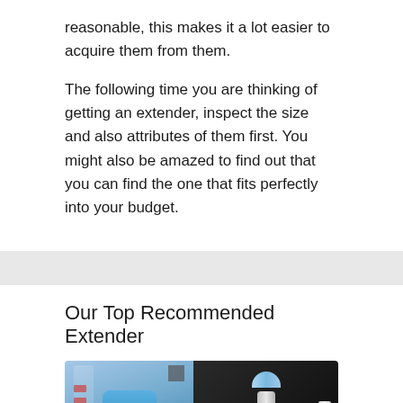reasonable, this makes it a lot easier to acquire them from them.
The following time you are thinking of getting an extender, inspect the size and also attributes of them first. You might also be amazed to find out that you can find the one that fits perfectly into your budget.
Our Top Recommended Extender
[Figure (photo): Product photo of QuickExtender device showing the box packaging on the left with a blue device illustration and a black case on the right containing the extender device components, with cylindrical accessories visible.]